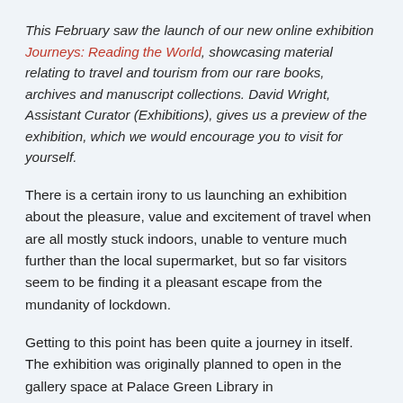This February saw the launch of our new online exhibition Journeys: Reading the World, showcasing material relating to travel and tourism from our rare books, archives and manuscript collections. David Wright, Assistant Curator (Exhibitions), gives us a preview of the exhibition, which we would encourage you to visit for yourself.
There is a certain irony to us launching an exhibition about the pleasure, value and excitement of travel when are all mostly stuck indoors, unable to venture much further than the local supermarket, but so far visitors seem to be finding it a pleasant escape from the mundanity of lockdown.
Getting to this point has been quite a journey in itself. The exhibition was originally planned to open in the gallery space at Palace Green Library in